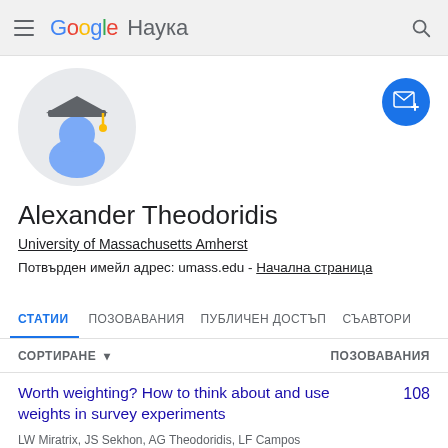Google Наука
[Figure (illustration): Academic avatar: person silhouette with graduation cap on light gray circle background]
Alexander Theodoridis
University of Massachusetts Amherst
Потвърден имейл адрес: umass.edu - Начална страница
СТАТИИ  ПОЗОВАВАНИЯ  ПУБЛИЧЕН ДОСТЪП  СЪАВТОРИ
СОРТИРАНЕ ▾  ПОЗОВАВАНИЯ
Worth weighting? How to think about and use weights in survey experiments
LW Miratrix, JS Sekhon, AG Theodoridis, LF Campos  108